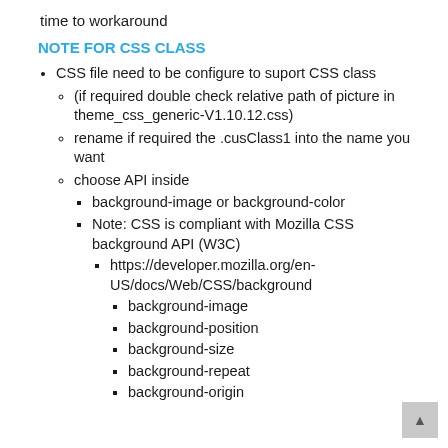time to workaround
NOTE FOR CSS CLASS
CSS file need to be configure to suport CSS class
(if required double check relative path of picture in theme_css_generic-V1.10.12.css)
rename if required the .cusClass1 into the name you want
choose API inside
background-image or background-color
Note: CSS is compliant with Mozilla CSS background API (W3C)
https://developer.mozilla.org/en-US/docs/Web/CSS/background
background-image
background-position
background-size
background-repeat
background-origin